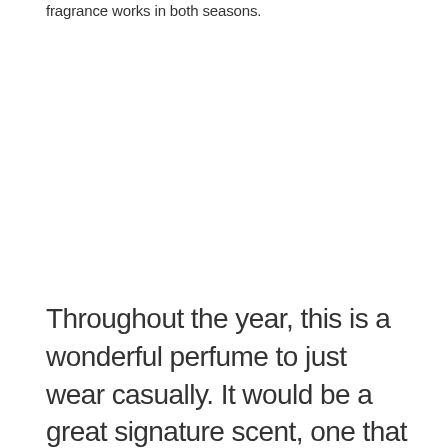fragrance works in both seasons.
Throughout the year, this is a wonderful perfume to just wear casually. It would be a great signature scent, one that you can always wear without having to think about it. However, a sweet gourmand scent such as this will also work wonders during nights out or dates